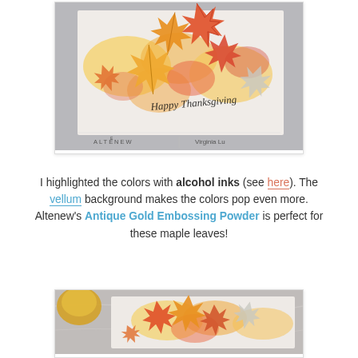[Figure (photo): A handmade Thanksgiving greeting card featuring autumn maple leaves with red, orange and gold colors on a vellum background with watercolor/alcohol ink washes. The card reads 'Happy Thanksgiving' in script. ALTENEW brand logo on left, Virginia Lu credit on right.]
I highlighted the colors with alcohol inks (see here). The vellum background makes the colors pop even more. Altenew's Antique Gold Embossing Powder is perfect for these maple leaves!
[Figure (photo): Close-up photo of a handmade card featuring autumn maple leaves with gold embossing, red and orange watercolor/alcohol ink colors on white card stock, placed on a marble surface with a gold item partially visible.]